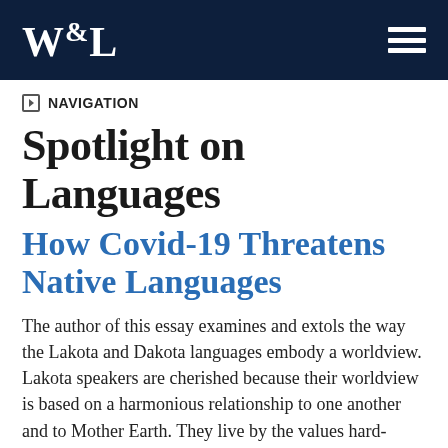W&L
NAVIGATION
Spotlight on Languages
How Covid-19 Threatens Native Languages
The author of this essay examines and extols the way the Lakota and Dakota languages embody a worldview. Lakota speakers are cherished because their worldview is based on a harmonious relationship to one another and to Mother Earth. They live by the values hard-wired into their language. Global sustainability movements have adopted